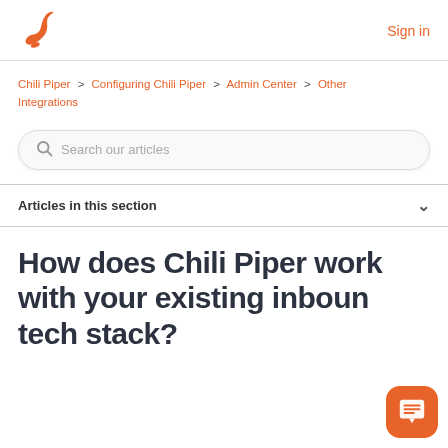Chili Piper logo | Sign in
Chili Piper > Configuring Chili Piper > Admin Center > Other Integrations
Search our articles
Articles in this section
How does Chili Piper work with your existing inbound tech stack?